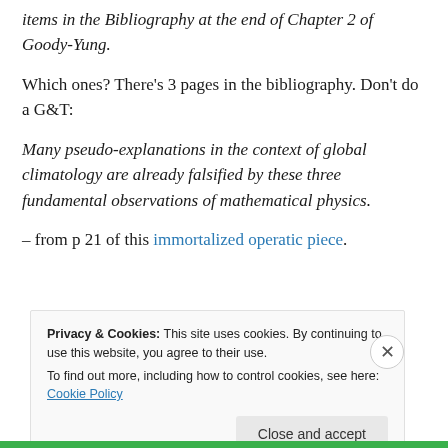items in the Bibliography at the end of Chapter 2 of Goody-Yung.
Which ones? There's 3 pages in the bibliography. Don't do a G&T:
Many pseudo-explanations in the context of global climatology are already falsified by these three fundamental observations of mathematical physics.
– from p 21 of this immortalized operatic piece.
Privacy & Cookies: This site uses cookies. By continuing to use this website, you agree to their use. To find out more, including how to control cookies, see here: Cookie Policy